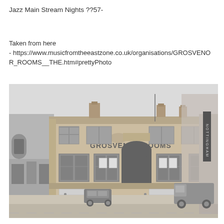Jazz Main Stream Nights ??57-
Taken from here
- https://www.musicfromtheeastzone.co.uk/organisations/GROSVENOR_ROOMS__THE.htm#prettyPhoto
[Figure (photo): Black and white photograph of the Grosvenor Rooms building, a corner building with ornate stone facade, arched entrance, and signage reading 'GROSVENOR ROOMS'. A van and car are visible on the street in front, along with surrounding commercial buildings.]